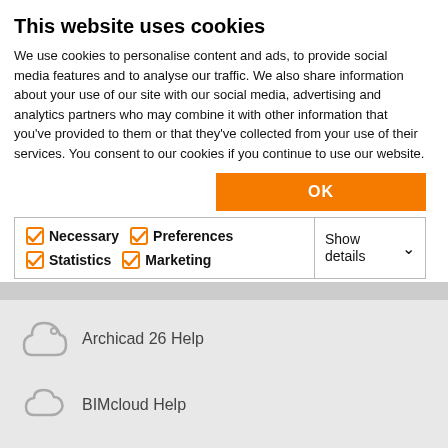This website uses cookies
We use cookies to personalise content and ads, to provide social media features and to analyse our traffic. We also share information about your use of our site with our social media, advertising and analytics partners who may combine it with other information that you've provided to them or that they've collected from your use of their services. You consent to our cookies if you continue to use our website.
OK
Necessary  Preferences  Statistics  Marketing  Show details
Archicad 26 Help
BIMcloud Help